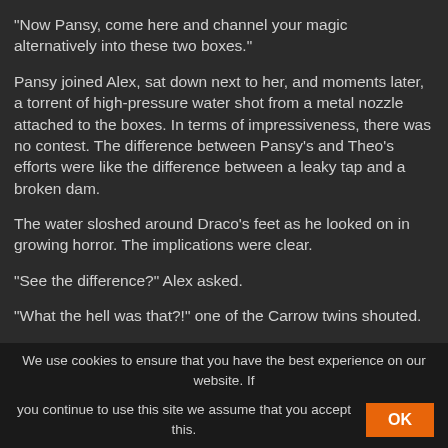"Now Pansy, come here and channel your magic alternatively into these two boxes."
Pansy joined Alex, sat down next to her, and moments later, a torrent of high-pressure water shot from a metal nozzle attached to the boxes. In terms of impressiveness, there was no contest. The difference between Pansy's and Theo's efforts were like the difference between a leaky tap and a broken dam.
The water sloshed around Draco's feet as he looked on in growing horror. The implications were clear.
"See the difference?" Alex asked.
"What the hell was that?!" one of the Carrow twins shouted.
We use cookies to ensure that you have the best experience on our website. If you continue to use this site we assume that you accept this.